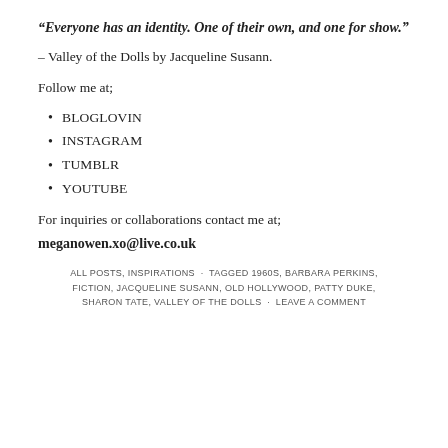“Everyone has an identity. One of their own, and one for show.”
– Valley of the Dolls by Jacqueline Susann.
Follow me at;
BLOGLOVIN
INSTAGRAM
TUMBLR
YOUTUBE
For inquiries or collaborations contact me at;
meganowen.xo@live.co.uk
ALL POSTS, INSPIRATIONS · TAGGED 1960S, BARBARA PERKINS, FICTION, JACQUELINE SUSANN, OLD HOLLYWOOD, PATTY DUKE, SHARON TATE, VALLEY OF THE DOLLS · LEAVE A COMMENT